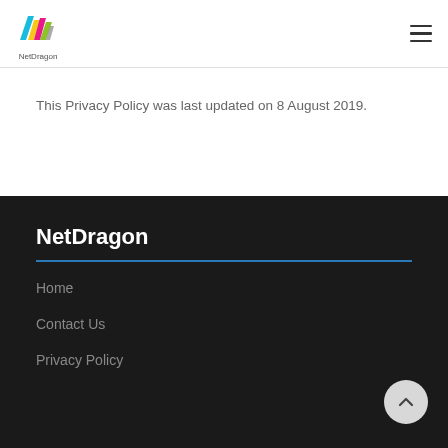[Figure (logo): NetDragon logo with colorful diagonal stripes (cyan, magenta, yellow, green) and the text 'NetDragon' below]
This Privacy Policy was last updated on 8 August 2019.
NetDragon
Home
Contact Us
Privacy Policy